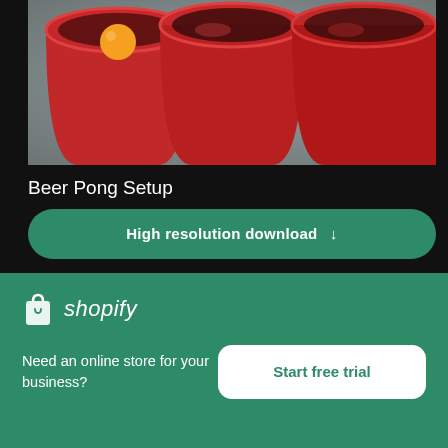[Figure (photo): Overhead view of red plastic cups arranged for beer pong, with an orange ping pong ball in one cup, on a dark surface.]
Beer Pong Setup
High resolution download ↓
[Figure (photo): Blurred dark background with silhouette of a tool or device, dimly lit room.]
[Figure (logo): Shopify logo with bag icon and italic wordmark 'shopify' in white on green background.]
Need an online store for your business?
Start free trial